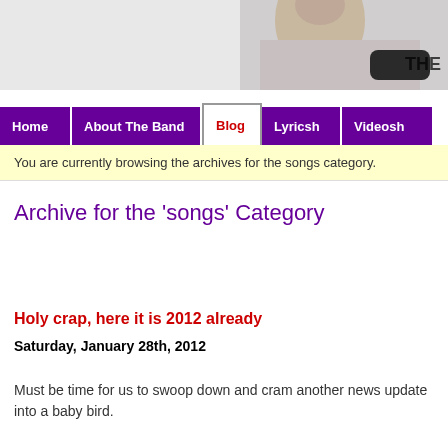[Figure (photo): Photo banner showing a person with a shaved head and partial text 'THE' on the right side]
Home | About The Band | Blog | Lyricsh | Videosh
You are currently browsing the archives for the songs category.
Archive for the 'songs' Category
Holy crap, here it is 2012 already
Saturday, January 28th, 2012
Must be time for us to swoop down and cram another news update into a baby bird.